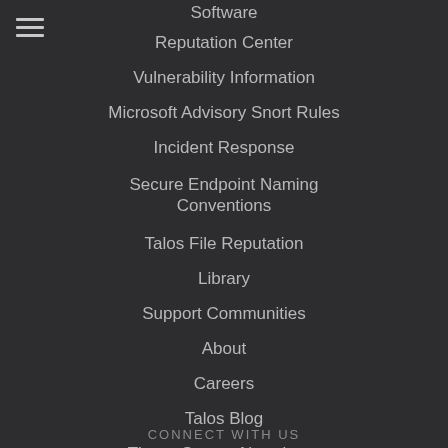Software
Reputation Center
Vulnerability Information
Microsoft Advisory Snort Rules
Incident Response
Secure Endpoint Naming Conventions
Talos File Reputation
Library
Support Communities
About
Careers
Talos Blog
Threat Source Newsletter
Beers with Talos Podcast
Talos Takes Podcast
CONNECT WITH US